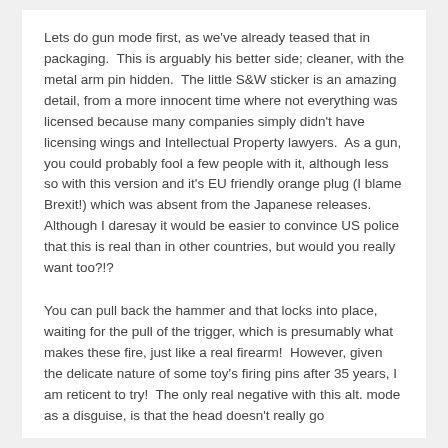Lets do gun mode first, as we've already teased that in packaging.  This is arguably his better side; cleaner, with the metal arm pin hidden.  The little S&W sticker is an amazing detail, from a more innocent time where not everything was licensed because many companies simply didn't have licensing wings and Intellectual Property lawyers.  As a gun, you could probably fool a few people with it, although less so with this version and it's EU friendly orange plug (I blame Brexit!) which was absent from the Japanese releases.  Although I daresay it would be easier to convince US police that this is real than in other countries, but would you really want too?!?
You can pull back the hammer and that locks into place, waiting for the pull of the trigger, which is presumably what makes these fire, just like a real firearm!  However, given the delicate nature of some toy's firing pins after 35 years, I am reticent to try!  The only real negative with this alt. mode as a disguise, is that the head doesn't really go